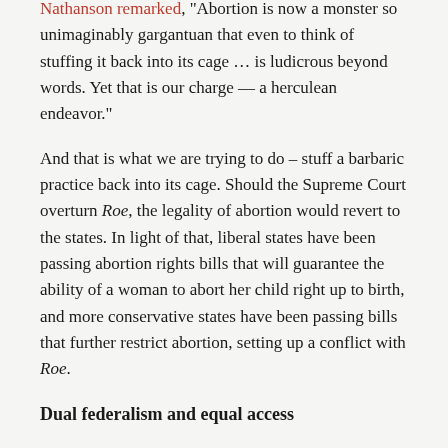Nathanson remarked, "Abortion is now a monster so unimaginably gargantuan that even to think of stuffing it back into its cage … is ludicrous beyond words. Yet that is our charge — a herculean endeavor."
And that is what we are trying to do – stuff a barbaric practice back into its cage. Should the Supreme Court overturn Roe, the legality of abortion would revert to the states. In light of that, liberal states have been passing abortion rights bills that will guarantee the ability of a woman to abort her child right up to birth, and more conservative states have been passing bills that further restrict abortion, setting up a conflict with Roe.
Dual federalism and equal access
One of the complaints among abortion proponents